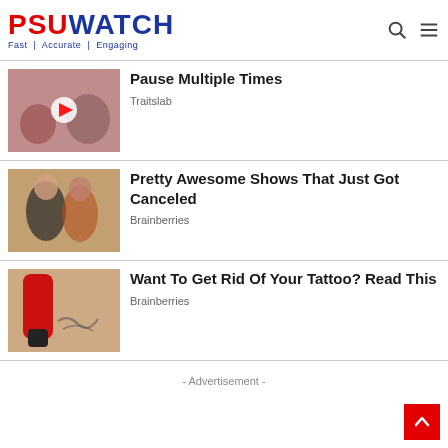PSUWATCH — Fast | Accurate | Engaging
[Figure (photo): People sitting on a floor, appears to be a yoga or relaxation scene with a play button overlay]
Pause Multiple Times
Traitslab
[Figure (photo): A man and woman smiling together in a TV show or news set setting]
Pretty Awesome Shows That Just Got Canceled
Brainberries
[Figure (photo): Close-up of a red and white pen-like device being used on a tattoo on skin]
Want To Get Rid Of Your Tattoo? Read This
Brainberries
- Advertisement -